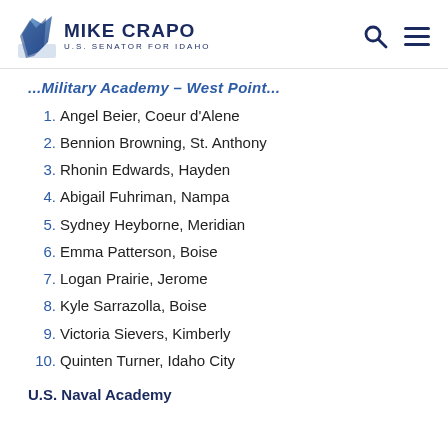MIKE CRAPO U.S. SENATOR FOR IDAHO
...Military Academy – West Point...
1. Angel Beier, Coeur d'Alene
2. Bennion Browning, St. Anthony
3. Rhonin Edwards, Hayden
4. Abigail Fuhriman, Nampa
5. Sydney Heyborne, Meridian
6. Emma Patterson, Boise
7. Logan Prairie, Jerome
8. Kyle Sarrazolla, Boise
9. Victoria Sievers, Kimberly
10. Quinten Turner, Idaho City
U.S. Naval Academy